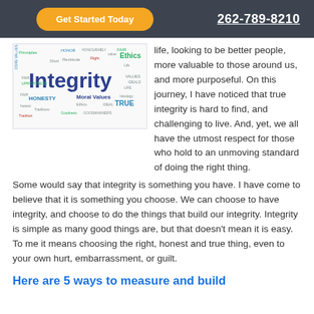Get Started Today | 262-789-8210
[Figure (illustration): Word cloud centered on 'Integrity' with related words: Principles, Honesty, Core Values, Ethics, FAIR, Moral Values, TRUE, Goodness, Rectitude, Right, Value, Honor, Honourable, Life, Ideology, Tradition]
life, looking to be better people, more valuable to those around us, and more purposeful. On this journey, I have noticed that true integrity is hard to find, and challenging to live. And, yet, we all have the utmost respect for those who hold to an unmoving standard of doing the right thing.
Some would say that integrity is something you have. I have come to believe that it is something you choose. We can choose to have integrity, and choose to do the things that build our integrity. Integrity is simple as many good things are, but that doesn't mean it is easy. To me it means choosing the right, honest and true thing, even to your own hurt, embarrassment, or guilt.
Here are 5 ways to measure and build